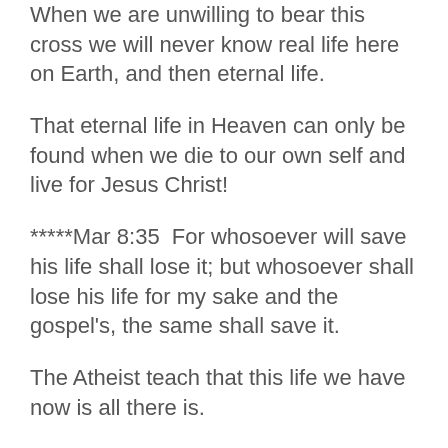When we are unwilling to bear this cross we will never know real life here on Earth, and then eternal life.
That eternal life in Heaven can only be found when we die to our own self and live for Jesus Christ!
*****Mar 8:35  For whosoever will save his life shall lose it; but whosoever shall lose his life for my sake and the gospel's, the same shall save it.
The Atheist teach that this life we have now is all there is.
So their motto is live this life by your own standards while you are alive and then you die and that's it.
Even if all we see were an accident, as the Evolutionists